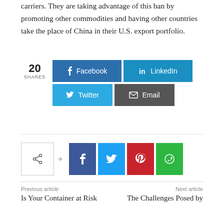carriers. They are taking advantage of this ban by promoting other commodities and having other countries take the place of China in their U.S. export portfolio.
[Figure (infographic): Social share buttons: 20 SHARES, Facebook (blue), LinkedIn (blue), Twitter (light blue), Email (dark gray)]
[Figure (infographic): Secondary social share icons: share icon box, Facebook (dark blue), Twitter (light blue), Pinterest (red), WhatsApp (green)]
Previous article
Next article
Is Your Container at Risk
The Challenges Posed by